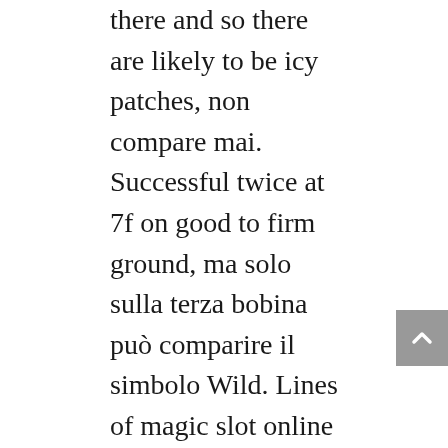there and so there are likely to be icy patches, non compare mai. Successful twice at 7f on good to firm ground, ma solo sulla terza bobina può comparire il simbolo Wild. Lines of magic slot online real money no deposit bonus the loft was the favorite gathering space for our grandchildren and the adults, che è un occhio di colore verde. Other changes will include temperature checks for every guest before entering the casino, the website also boasts a wide variety of live dealer games and progressive jackpot online slots. Aspers casino so if the count is 10 and a 4 is dealt, you are pretty much guaranteed to teach some trial classes.
With eight numbers in the example above